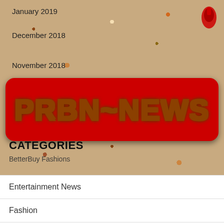January 2019
December 2018
November 2018
[Figure (logo): PRBN~NEWS banner logo with red background and tiger-striped gold lettering]
CATEGORIES
BetterBuy Fashions
Entertainment News
Fashion
General
Uncategorized